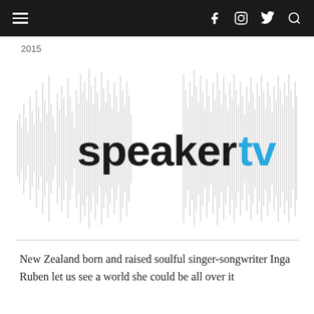speakertv — navigation header with hamburger menu and social icons
2015
[Figure (logo): SpeakerTV logo — the word 'speaker' in black bold sans-serif and 'tv' in cyan/blue, overlaid on a audio waveform graphic with grey vertical spikes on white background]
New Zealand born and raised soulful singer-songwriter Inga Ruben let us see a world she could be all over it